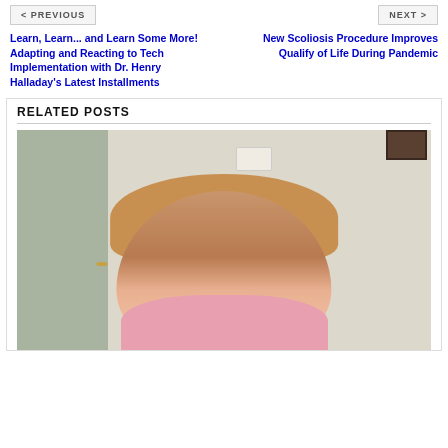< PREVIOUS
NEXT >
Learn, Learn... and Learn Some More! Adapting and Reacting to Tech Implementation with Dr. Henry Halladay's Latest Installments
New Scoliosis Procedure Improves Qualify of Life During Pandemic
RELATED POSTS
[Figure (photo): Photo of a woman with blonde hair wearing a pink jacket, seated indoors against a textured wall with a light switch visible. A dark picture frame is visible in the upper right corner. A door is visible on the left side.]